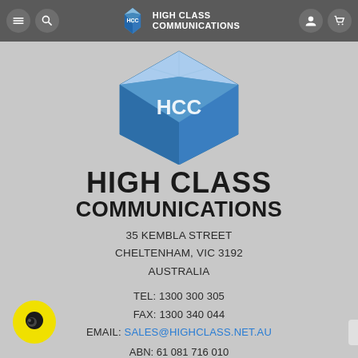High Class Communications - navigation bar with menu, search, logo, user and cart icons
[Figure (logo): High Class Communications diamond/gem shaped logo in blue tones with HCC letters]
HIGH CLASS COMMUNICATIONS
35 KEMBLA STREET
CHELTENHAM, VIC 3192
AUSTRALIA
TEL: 1300 300 305
FAX: 1300 340 044
EMAIL: SALES@HIGHCLASS.NET.AU
ABN: 61 081 716 010